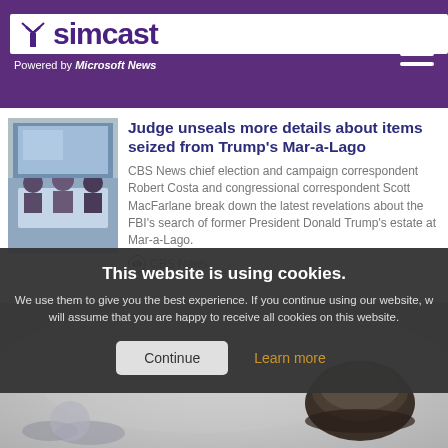simcast — Powered by Microsoft News
Judge unseals more details about items seized from Trump's Mar-a-Lago
CBS News chief election and campaign correspondent Robert Costa and congressional correspondent Scott MacFarlane break down the latest revelations about the FBI's search of former President Donald Trump's estate at Mar-a-Lago.
CBS News
This website is using cookies. We use them to give you the best experience. If you continue using our website, we will assume that you are happy to receive all cookies on this website.
[Figure (photo): News studio scene with people at a desk]
[Figure (photo): Close-up photo of a dark object, possibly a gavel or stone, on a blurred background]